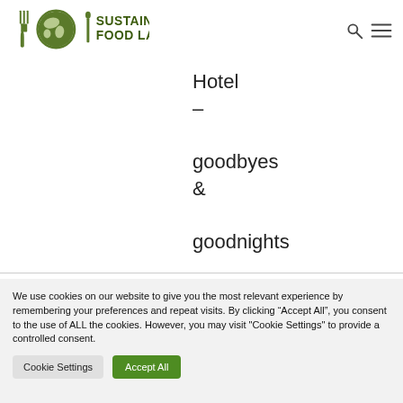[Figure (logo): Sustainable Food Lab logo with fork, globe, and spoon icon in green circle, with text 'Sustainable Food Lab']
Hotel – goodbyes & goodnights
We use cookies on our website to give you the most relevant experience by remembering your preferences and repeat visits. By clicking "Accept All", you consent to the use of ALL the cookies. However, you may visit "Cookie Settings" to provide a controlled consent.